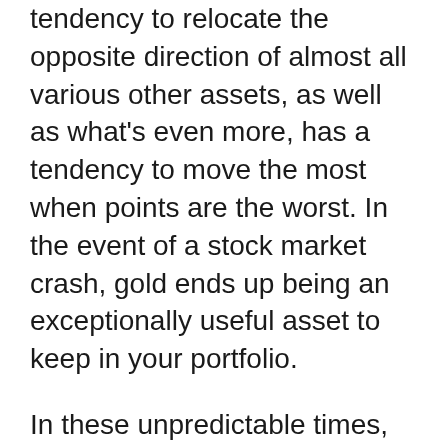tendency to relocate the opposite direction of almost all various other assets, as well as what's even more, has a tendency to move the most when points are the worst. In the event of a stock market crash, gold ends up being an exceptionally useful asset to keep in your portfolio.
In these unpredictable times, with geopolitical stress increasing worldwide, unknowns such as movements and also water lacks because of international warming and climate change, supply chain uncertainties because of a global pandemic, political instability, and anxieties of a miscalculated securities market, gold is merely the best to hedge against every one of these threats.